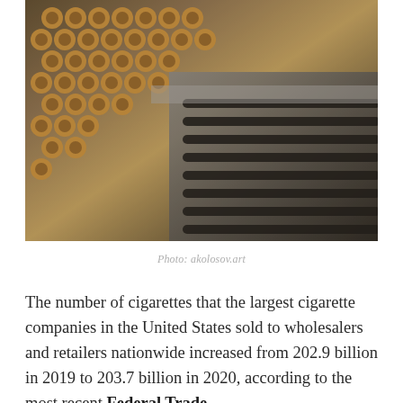[Figure (photo): Close-up photograph of cigarettes in a manufacturing machine, showing rows of cigarette ends being processed on what appears to be a conveyor or sorting mechanism.]
Photo: akolosov.art
The number of cigarettes that the largest cigarette companies in the United States sold to wholesalers and retailers nationwide increased from 202.9 billion in 2019 to 203.7 billion in 2020, according to the most recent Federal Trade